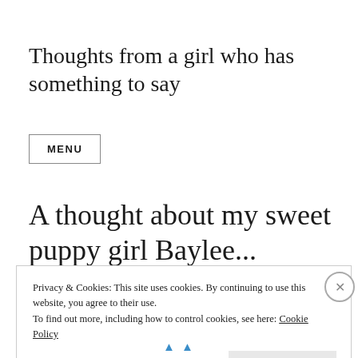Thoughts from a girl who has something to say
MENU
A thought about my sweet puppy girl Baylee...
Privacy & Cookies: This site uses cookies. By continuing to use this website, you agree to their use.
To find out more, including how to control cookies, see here: Cookie Policy
Close and accept